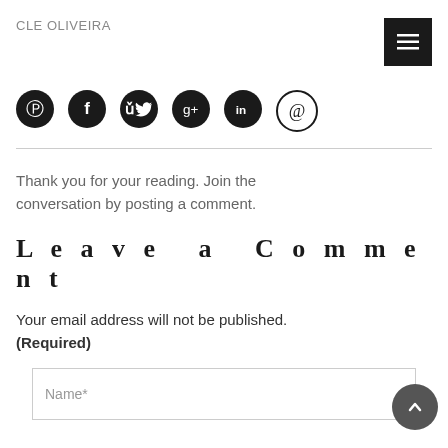CLE OLIVEIRA
[Figure (other): Row of six social media icon circles (Pinterest, Facebook, Twitter, Google+, LinkedIn, Email/At)]
Thank you for your reading. Join the conversation by posting a comment.
Leave a Comment
Your email address will not be published. (Required)
Name*